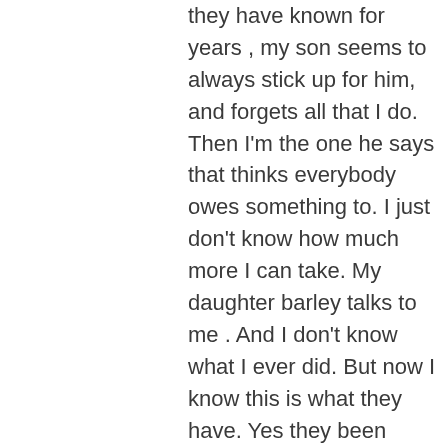they have known for years , my son seems to always stick up for him, and forgets all that I do. Then I'm the one he says that thinks everybody owes something to. I just don't know how much more I can take. My daughter barley talks to me . And I don't know what I ever did. But now I know this is what they have. Yes they been through a lot. The father has family members in the court system and he